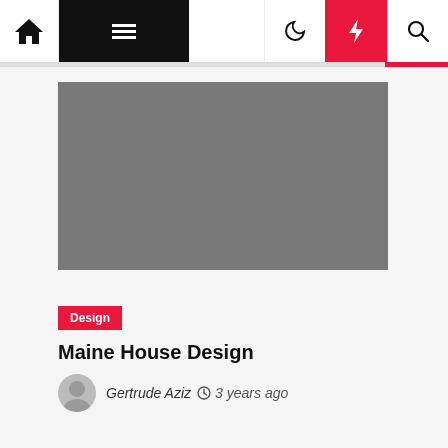Navigation bar with home, menu, moon, lightning, and search icons
[Figure (photo): Grey placeholder image for Maine House Design article hero]
Design
Maine House Design
Gertrude Aziz  3 years ago